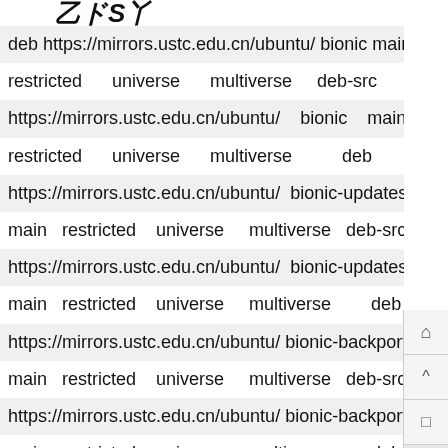deb https://mirrors.ustc.edu.cn/ubuntu/ bionic main restricted universe multiverse deb-src https://mirrors.ustc.edu.cn/ubuntu/ bionic main restricted universe multiverse deb https://mirrors.ustc.edu.cn/ubuntu/ bionic-updates main restricted universe multiverse deb-src https://mirrors.ustc.edu.cn/ubuntu/ bionic-updates main restricted universe multiverse deb https://mirrors.ustc.edu.cn/ubuntu/ bionic-backports main restricted universe multiverse deb-src https://mirrors.ustc.edu.cn/ubuntu/ bionic-backports main restricted universe multiverse deb https://mirrors.ustc.edu.cn/ubuntu/ bionic-security main restricted universe multiverse deb-src https://mirrors.ustc.edu.cn/ubuntu/ bionic-security main restricted universe multiverse deb https://mirrors.ustc.edu.cn/ubuntu/ bionic-security